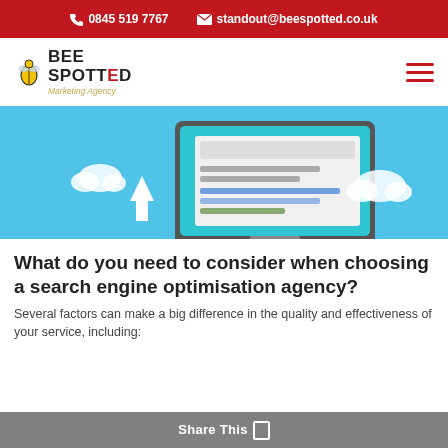📞 0845 519 7767   ✉ standout@beespotted.co.uk
[Figure (logo): BeeSpotted Marketing Agency logo with red and black bold text and golden italic tagline]
[Figure (illustration): Hero illustration showing a desktop computer monitor with a search results page on a light blue background, with an upward arrow and cloud graphic]
What do you need to consider when choosing a search engine optimisation agency?
Several factors can make a big difference in the quality and effectiveness of your service, including:
Share This